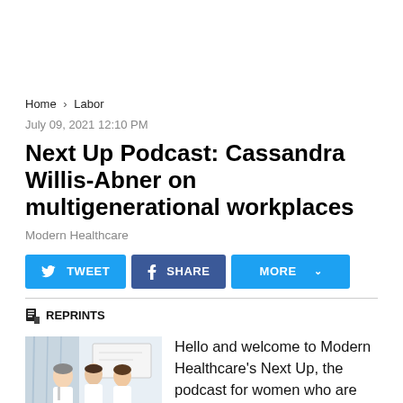Home > Labor
July 09, 2021 12:10 PM
Next Up Podcast: Cassandra Willis-Abner on multigenerational workplaces
Modern Healthcare
[Figure (other): Social sharing buttons: TWEET, SHARE, MORE]
REPRINTS
[Figure (photo): Photo of medical professionals in white coats, healthcare setting]
Hello and welcome to Modern Healthcare's Next Up, the podcast for women who are aiming for the